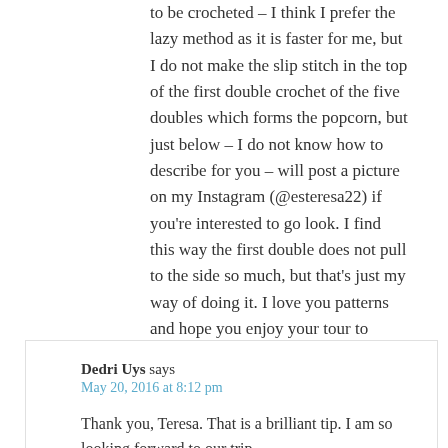to be crocheted – I think I prefer the lazy method as it is faster for me, but I do not make the slip stitch in the top of the first double crochet of the five doubles which forms the popcorn, but just below – I do not know how to describe for you – will post a picture on my Instagram (@esteresa22) if you're interested to go look. I find this way the first double does not pull to the side so much, but that's just my way of doing it. I love you patterns and hope you enjoy your tour to South Africa in July.
Reply
Dedri Uys says
May 20, 2016 at 8:12 pm
Thank you, Teresa. That is a brilliant tip. I am so looking forward to our trip.